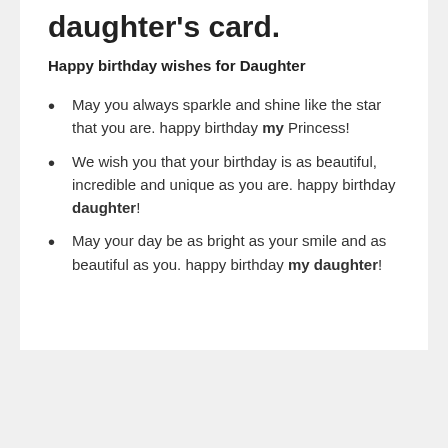daughter's card.
Happy birthday wishes for Daughter
May you always sparkle and shine like the star that you are. happy birthday my Princess!
We wish you that your birthday is as beautiful, incredible and unique as you are. happy birthday daughter!
May your day be as bright as your smile and as beautiful as you. happy birthday my daughter!